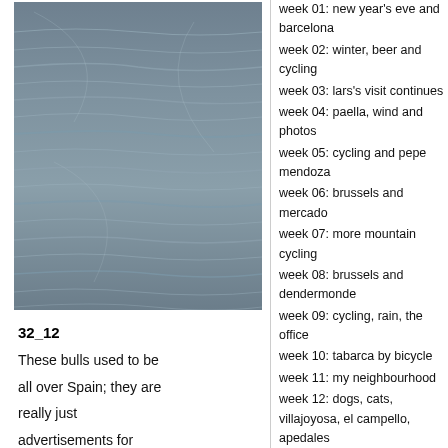[Figure (photo): Photo of water surface with gentle ripples, blue-grey tones]
32_12
These bulls used to be all over Spain; they are really just advertisements for Osborne, a brand of sherry, and there are
week 01: new year's eve and barcelona
week 02: winter, beer and cycling
week 03: lars's visit continues
week 04: paella, wind and photos
week 05: cycling and pepe mendoza
week 06: brussels and mercado
week 07: more mountain cycling
week 08: brussels and dendermonde
week 09: cycling, rain, the office
week 10: tabarca by bicycle
week 11: my neighbourhood
week 12: dogs, cats, villajoyosa, el campello, apedales
week 13: sierra nevada and granada
week 14: semana santa and spring
week 15: rural alicante
week 16: brussels and aarhus